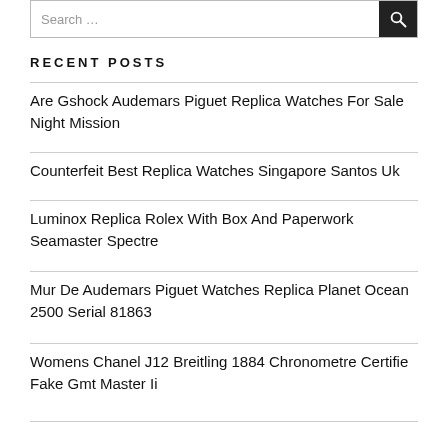RECENT POSTS
Are Gshock Audemars Piguet Replica Watches For Sale Night Mission
Counterfeit Best Replica Watches Singapore Santos Uk
Luminox Replica Rolex With Box And Paperwork Seamaster Spectre
Mur De Audemars Piguet Watches Replica Planet Ocean 2500 Serial 81863
Womens Chanel J12 Breitling 1884 Chronometre Certifie Fake Gmt Master Ii